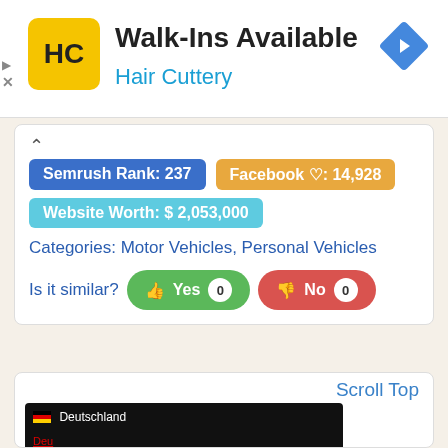[Figure (screenshot): Hair Cuttery advertisement banner with yellow logo, 'Walk-Ins Available' title, 'Hair Cuttery' subtitle in blue, and a blue navigation diamond icon]
Semrush Rank: 237
Facebook ♡: 14,928
Website Worth: $ 2,053,000
Categories: Motor Vehicles, Personal Vehicles
Is it similar? Yes 0 No 0
Scroll Top
[Figure (screenshot): Screenshot of a website showing a dropdown with Deutschland and flag, and Vereinigte Staaten entries, with a Top Gear BBC logo visible at the bottom]